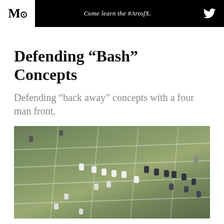MQ — Come learn the #ArtofX.
Defending “Bash” Concepts
Defending “back away” concepts with a four man front.
[Figure (photo): Aerial view of a football game in progress on a green field, showing players from two teams lined up at the line of scrimmage with field yard lines visible.]